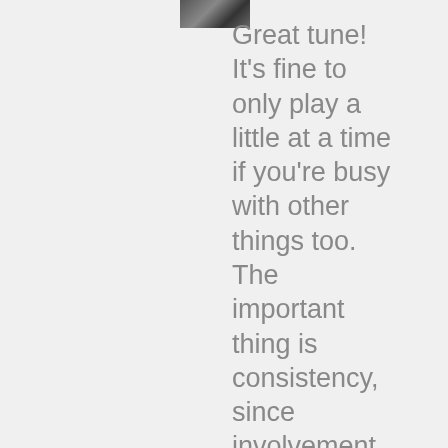[Figure (photo): Partial photo of a person, cropped at top of page]
Great tune! It's fine to only play a little at a time if you're busy with other things too. The important thing is consistency, since involvement with music enriches our